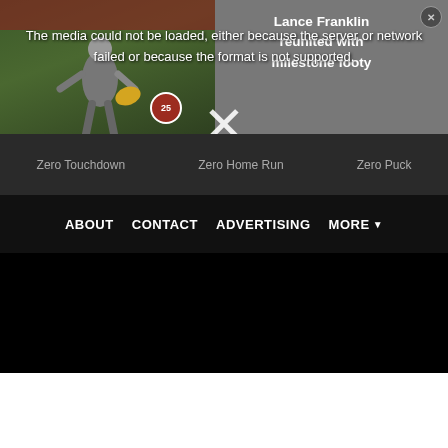[Figure (screenshot): Video player screenshot showing a sports player (AFL) on left, with a media error overlay message and title 'Lance Franklin reunited with milestone footy'. Below the player area are nav links: Zero Touchdown, Zero Home Run, Zero Puck.]
The media could not be loaded, either because the server or network failed or because the format is not supported.
Lance Franklin reunited with milestone footy
Zero Touchdown   Zero Home Run   Zero Puck
ABOUT   CONTACT   ADVERTISING   MORE